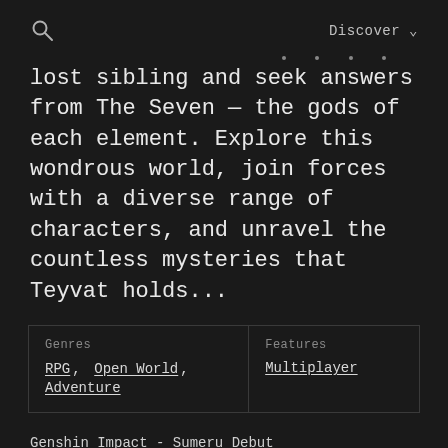Discover ∨
lost sibling and seek answers from The Seven — the gods of each element. Explore this wondrous world, join forces with a diverse range of characters, and unravel the countless mysteries that Teyvat holds...
| Genres | Features |
| --- | --- |
| RPG, Open World, Adventure | Multiplayer |
Genshin Impact - Sumeru Debut
Version 3.0 "The Morn a Thousand Roses Brings" is now available!